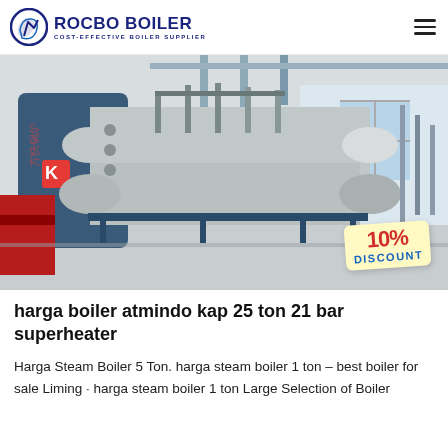ROCBO BOILER — COST-EFFECTIVE BOILER SUPPLIER
[Figure (photo): Industrial steam boiler equipment installed in a factory building, showing large cylindrical pressure vessel with blue casing and pipework. A '10% DISCOUNT' badge overlay is visible in the lower right corner.]
harga boiler atmindo kap 25 ton 21 bar superheater
Harga Steam Boiler 5 Ton. harga steam boiler 1 ton – best boiler for sale Liming · harga steam boiler 1 ton Large Selection of Boiler